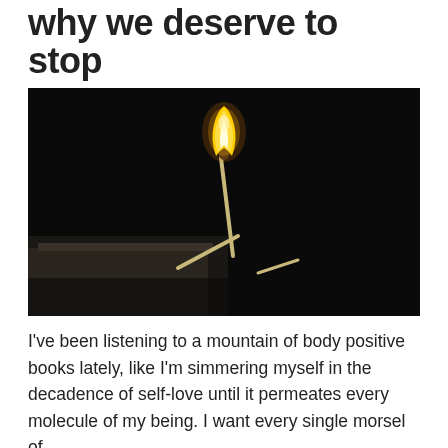why we deserve to stop
april 9, 2019 by caitlin, posted in uncategorized
[Figure (photo): Close-up photograph of a lit match with a bright orange-yellow flame against a dark black background, the match stick resting on a matchbook]
I've been listening to a mountain of body positive books lately, like I'm simmering myself in the decadence of self-love until it permeates every molecule of my being. I want every single morsel of myself to be flavored with the spice of confidence and